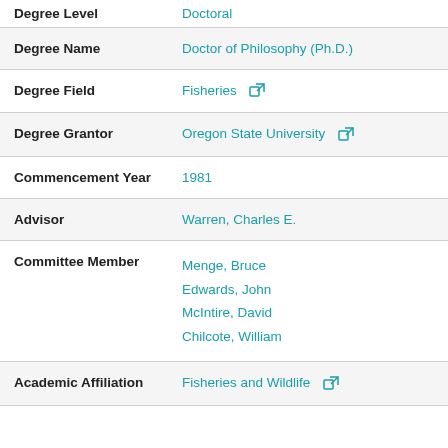| Field | Value |
| --- | --- |
| Degree Level | Doctoral |
| Degree Name | Doctor of Philosophy (Ph.D.) |
| Degree Field | Fisheries |
| Degree Grantor | Oregon State University |
| Commencement Year | 1981 |
| Advisor | Warren, Charles E. |
| Committee Member | Menge, Bruce
Edwards, John
McIntire, David
Chilcote, William |
| Academic Affiliation | Fisheries and Wildlife |